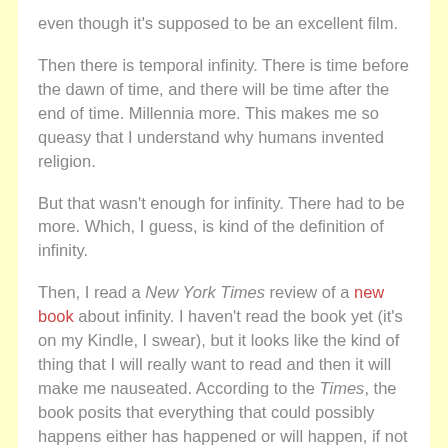even though it's supposed to be an excellent film.
Then there is temporal infinity. There is time before the dawn of time, and there will be time after the end of time. Millennia more. This makes me so queasy that I understand why humans invented religion.
But that wasn't enough for infinity. There had to be more. Which, I guess, is kind of the definition of infinity.
Then, I read a New York Times review of a new book about infinity. I haven't read the book yet (it's on my Kindle, I swear), but it looks like the kind of thing that I will really want to read and then it will make me nauseated. According to the Times, the book posits that everything that could possibly happens either has happened or will happen, if not in our reality than in another.
This means that at every decision point in every day of